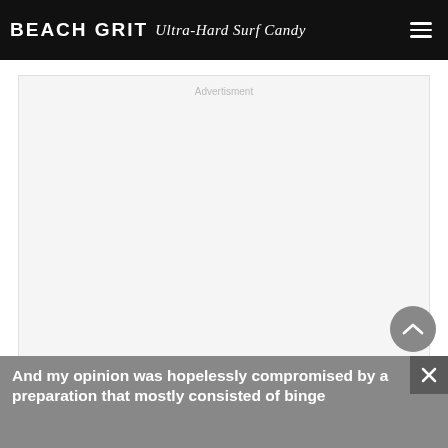BEACH GRIT Ultra-Hard Surf Candy
[Figure (other): Advertisement placeholder area with light gray background and 'Advertisment' label text centered at top]
And my opinion was hopelessly compromised by a preparation that mostly consisted of binge